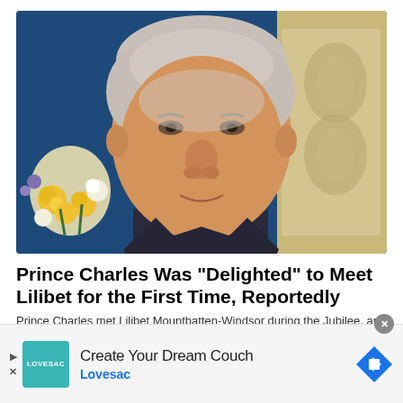[Figure (photo): Close-up portrait of Prince Charles (older man with white/silver hair, wearing dark suit) with yellow and white flowers and ornate tapestry in background]
Prince Charles Was "Delighted" to Meet Lilibet for the First Time, Reportedly
Prince Charles met Lilibet Mountbatten-Windsor during the Jubilee, and was "delighted" to see her and Archie.
[Figure (advertisement): Lovesac advertisement: teal logo box with LOVESAC text, headline 'Create Your Dream Couch', brand name 'Lovesac', blue navigation arrow icon on right, close button at top right, play and X icons on left]